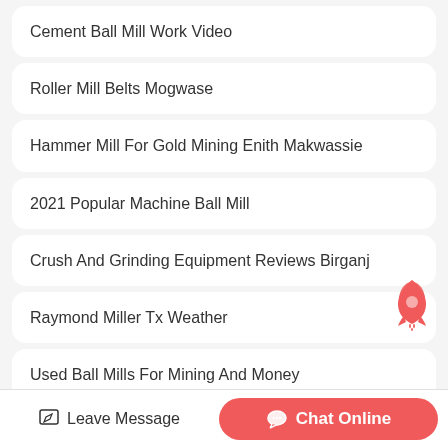Cement Ball Mill Work Video
Roller Mill Belts Mogwase
Hammer Mill For Gold Mining Enith Makwassie
2021 Popular Machine Ball Mill
Crush And Grinding Equipment Reviews Birganj
Raymond Miller Tx Weather
Used Ball Mills For Mining And Money
Leave Message   Chat Online